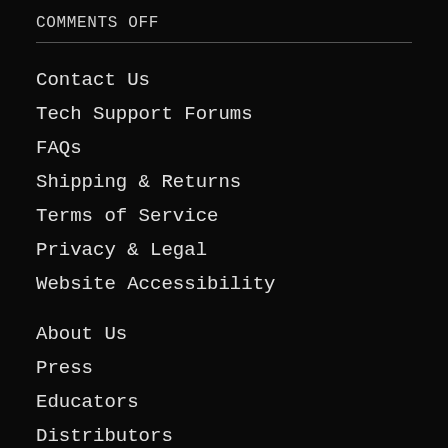COMMENTS OFF
Contact Us
Tech Support Forums
FAQs
Shipping & Returns
Terms of Service
Privacy & Legal
Website Accessibility
About Us
Press
Educators
Distributors
Jobs